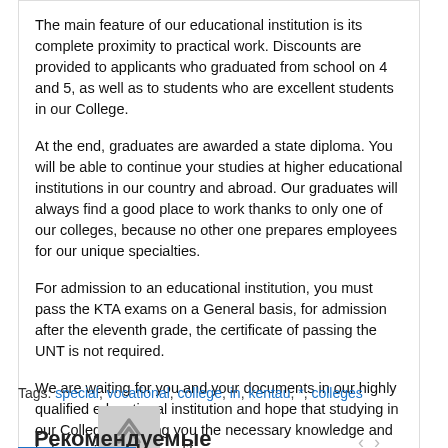The main feature of our educational institution is its complete proximity to practical work. Discounts are provided to applicants who graduated from school on 4 and 5, as well as to students who are excellent students in our College.
At the end, graduates are awarded a state diploma. You will be able to continue your studies at higher educational institutions in our country and abroad. Our graduates will always find a good place to work thanks to only one of our colleges, because no other one prepares employees for our unique specialties.
For admission to an educational institution, you must pass the KTA exams on a General basis, for admission after the eleventh grade, the certificate of passing the UNT is not required.
We are waiting for you and your documents in our highly qualified educational institution and hope that studying in our College will bring you the necessary knowledge and help you in your future life.
[Figure (infographic): Row of social media icon buttons: VK (blue), Odnoklassniki (orange), a smiley face (teal), Twitter (blue), Viber (purple), WhatsApp (green), Skype (teal/blue), Telegram (blue)]
Tags: special, vocational, college, in, kentau, *, colleges
Рекомендуемые